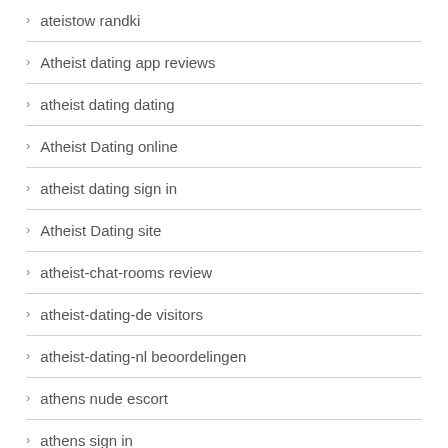ateistow randki
Atheist dating app reviews
atheist dating dating
Atheist Dating online
atheist dating sign in
Atheist Dating site
atheist-chat-rooms review
atheist-dating-de visitors
atheist-dating-nl beoordelingen
athens nude escort
athens sign in
Athens+GA+Georgia hookup sites